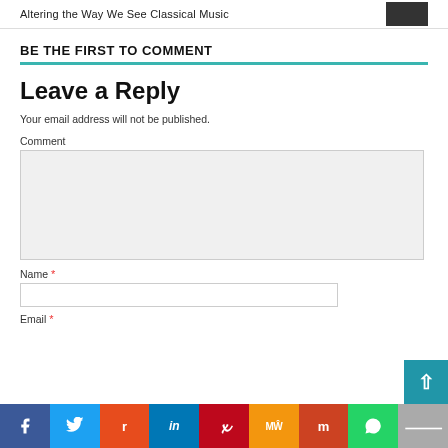Altering the Way We See Classical Music
BE THE FIRST TO COMMENT
Leave a Reply
Your email address will not be published.
Comment
Name *
Email *